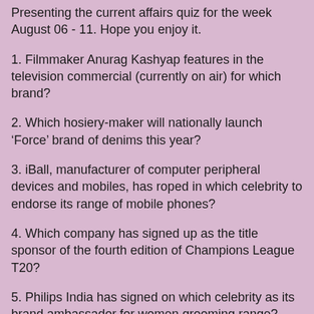Presenting the current affairs quiz for the week August 06 - 11. Hope you enjoy it.
1. Filmmaker Anurag Kashyap features in the television commercial (currently on air) for which brand?
2. Which hosiery-maker will nationally launch ‘Force’ brand of denims this year?
3. iBall, manufacturer of computer peripheral devices and mobiles, has roped in which celebrity to endorse its range of mobile phones?
4. Which company has signed up as the title sponsor of the fourth edition of Champions League T20?
5. Philips India has signed on which celebrity as its brand ambassador for women grooming range?
6. Rahul Dhir has decided to step down as the MD & CEO of which company?